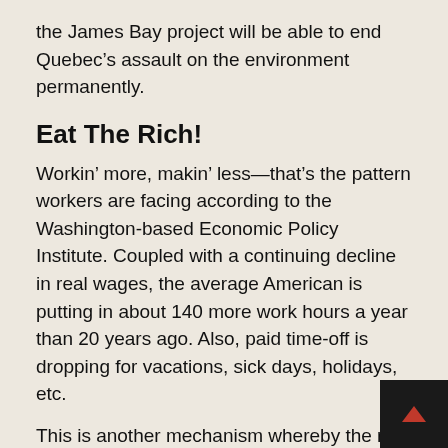the James Bay project will be able to end Quebec’s assault on the environment permanently.
Eat The Rich!
Workin’ more, makin’ less—that’s the pattern workers are facing according to the Washington-based Economic Policy Institute. Coupled with a continuing decline in real wages, the average American is putting in about 140 more work hours a year than 20 years ago. Also, paid time-off is dropping for vacations, sick days, holidays, etc.
This is another mechanism whereby the rich are getting richer at the expense of the classes below them. We create more value for the capitalist market and they compensate us less. The rich pocket the difference. This allows them, for instance, to dress elegantly, as in a recent Saks Fifth Avenue ad, in the now-fashionable “Western” look. All you need is $3 for a tuxedo blouse, $450 for leather jeans and $42